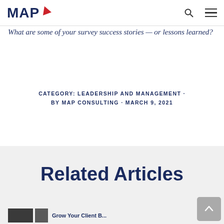MAP (logo with arrow)
What are some of your survey success stories — or lessons learned?
CATEGORY: LEADERSHIP AND MANAGEMENT · BY MAP CONSULTING · MARCH 9, 2021
Related Articles